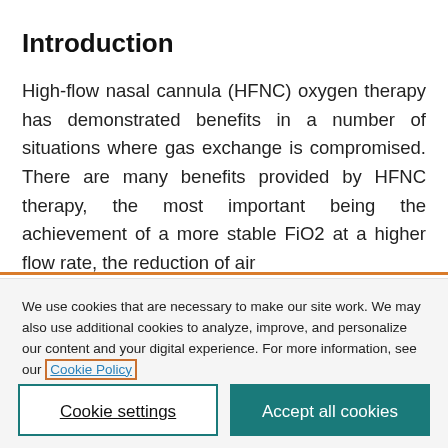Introduction
High-flow nasal cannula (HFNC) oxygen therapy has demonstrated benefits in a number of situations where gas exchange is compromised. There are many benefits provided by HFNC therapy, the most important being the achievement of a more stable FiO2 at a higher flow rate, the reduction of air...
We use cookies that are necessary to make our site work. We may also use additional cookies to analyze, improve, and personalize our content and your digital experience. For more information, see our Cookie Policy
Cookie settings
Accept all cookies